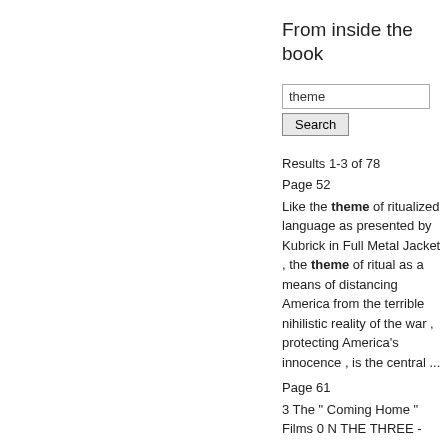From inside the book
theme
Search
Results 1-3 of 78
Page 52
Like the theme of ritualized language as presented by Kubrick in Full Metal Jacket , the theme of ritual as a means of distancing America from the terrible nihilistic reality of the war , protecting America's innocence , is the central ...
Page 61
3 The " Coming Home " Films 0 N THE THREE -